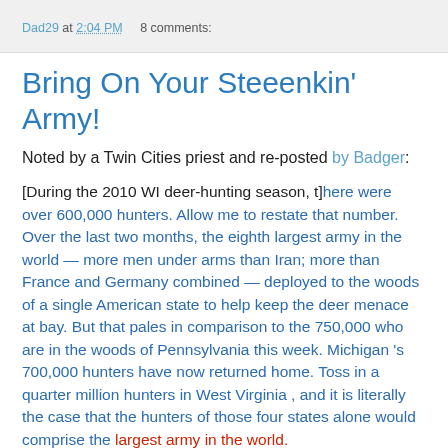Dad29 at 2:04 PM    8 comments:
Bring On Your Steeenkin' Army!
Noted by a Twin Cities priest and re-posted by Badger:
[During the 2010 WI deer-hunting season, t]here were over 600,000 hunters. Allow me to restate that number. Over the last two months, the eighth largest army in the world — more men under arms than Iran; more than France and Germany combined — deployed to the woods of a single American state to help keep the deer menace at bay. But that pales in comparison to the 750,000 who are in the woods of Pennsylvania this week. Michigan 's 700,000 hunters have now returned home. Toss in a quarter million hunters in West Virginia , and it is literally the case that the hunters of those four states alone would comprise the largest army in the world.
Heh.